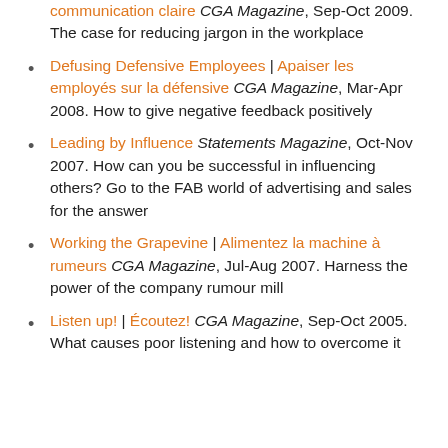communication claire CGA Magazine, Sep-Oct 2009. The case for reducing jargon in the workplace
Defusing Defensive Employees | Apaiser les employés sur la défensive CGA Magazine, Mar-Apr 2008. How to give negative feedback positively
Leading by Influence Statements Magazine, Oct-Nov 2007. How can you be successful in influencing others? Go to the FAB world of advertising and sales for the answer
Working the Grapevine | Alimentez la machine à rumeurs CGA Magazine, Jul-Aug 2007. Harness the power of the company rumour mill
Listen up! | Écoutez! CGA Magazine, Sep-Oct 2005. What causes poor listening and how to overcome it